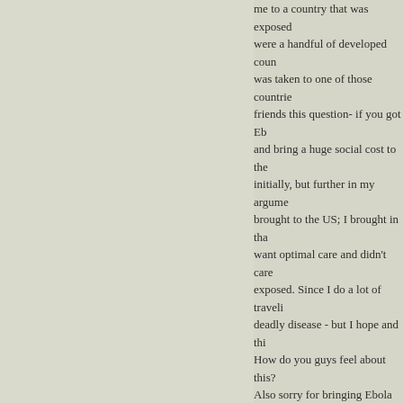me to a country that was exposed were a handful of developed countries was taken to one of those countries friends this question- if you got Eb and bring a huge social cost to the initially, but further in my argument brought to the US; I brought in that want optimal care and didn't care exposed. Since I do a lot of traveling deadly disease - but I hope and thi How do you guys feel about this? Also sorry for bringing Ebola back
Posted by: Julia Harbaugh | 1
[Figure (illustration): Green and yellow flower/snowflake decorative avatar icon]
I found Biel and friends' paper to have large effect in people's decision making than other people do. What Biel and friends elicits different emotional responses. They find that when choosing to opt out, response than if not donating was choices as given, and only think about would have the same emotions rep not. This means that it is feasible